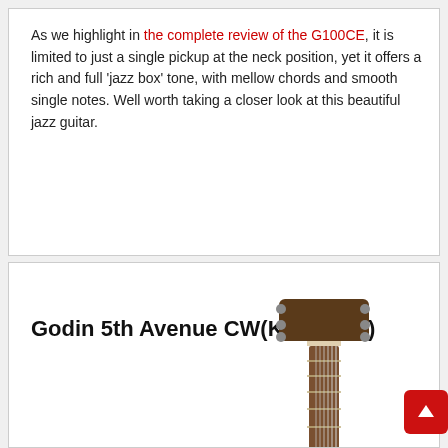As we highlight in the complete review of the G100CE, it is limited to just a single pickup at the neck position, yet it offers a rich and full 'jazz box' tone, with mellow chords and smooth single notes. Well worth taking a closer look at this beautiful jazz guitar.
Godin 5th Avenue CW(Kingpin II)
[Figure (photo): Partial image of a jazz guitar neck and headstock]